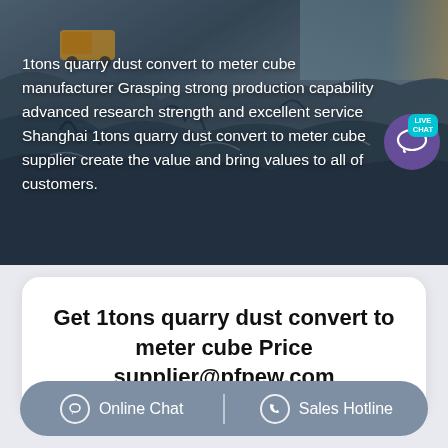[Figure (photo): Aerial photograph of a quarry/mining site showing rock faces, machinery, and excavated terrain in grey and blue tones]
1tons quarry dust convert to meter cube manufacturer Grasping strong production capability advanced research strength and excellent service Shanghai 1tons quarry dust convert to meter cube supplier create the value and bring values to all of customers.
Get 1tons quarry dust convert to meter cube Price supplier@pfpew.com
Online Chat   Sales Hotline